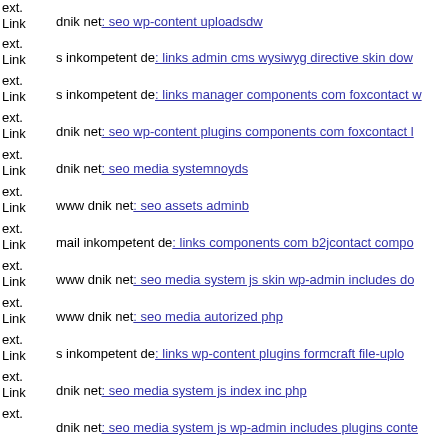ext. Link dnik net: seo wp-content uploadsdw
ext. Link s inkompetent de: links admin cms wysiwyg directive skin dow
ext. Link s inkompetent de: links manager components com foxcontact w
ext. Link dnik net: seo wp-content plugins components com foxcontact l
ext. Link dnik net: seo media systemnoyds
ext. Link www dnik net: seo assets adminb
ext. Link mail inkompetent de: links components com b2jcontact compo
ext. Link www dnik net: seo media system js skin wp-admin includes do
ext. Link www dnik net: seo media autorized php
ext. Link s inkompetent de: links wp-content plugins formcraft file-uplo
ext. Link dnik net: seo media system js index inc php
ext. Link dnik net: seo media system js wp-admin includes plugins conte